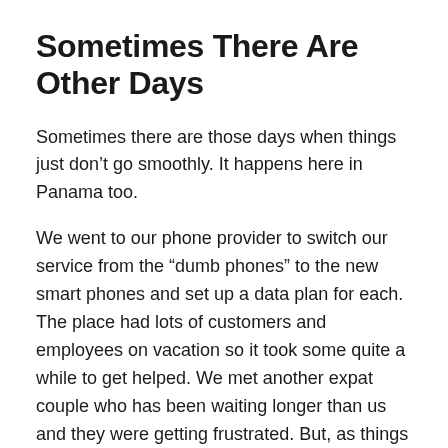Sometimes There Are Other Days
Sometimes there are those days when things just don't go smoothly. It happens here in Panama too.
We went to our phone provider to switch our service from the “dumb phones” to the new smart phones and set up a data plan for each. The place had lots of customers and employees on vacation so it took some quite a while to get helped. We met another expat couple who has been waiting longer than us and they were getting frustrated. But, as things usually go eventually, we got what we needed and now have internet in our phones. It was interesting. She asked our phone numbers, did something with a couple new chips, and now the new chips have our